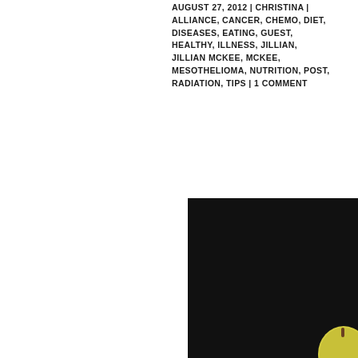AUGUST 27, 2012 | CHRISTINA | ALLIANCE, CANCER, CHEMO, DIET, DISEASES, EATING, GUEST, HEALTHY, ILLNESS, JILLIAN, JILLIAN MCKEE, MCKEE, MESOTHELIOMA, NUTRITION, POST, RADIATION, TIPS | 1 COMMENT
[Figure (photo): A colorful arrangement of various fresh fruits including watermelon, bananas, strawberries, oranges, apples, pears, grapes, and a pineapple, photographed against a dark background.]